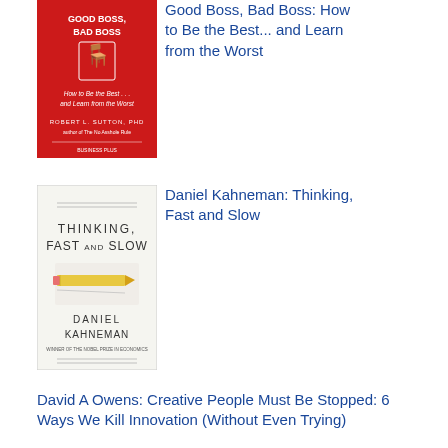[Figure (photo): Book cover of Good Boss, Bad Boss with red background and white text]
Good Boss, Bad Boss: How to Be the Best... and Learn from the Worst
[Figure (photo): Book cover of Thinking, Fast and Slow by Daniel Kahneman with pencil illustration on white background]
Daniel Kahneman: Thinking, Fast and Slow
David A Owens: Creative People Must Be Stopped: 6 Ways We Kill Innovation (Without Even Trying)